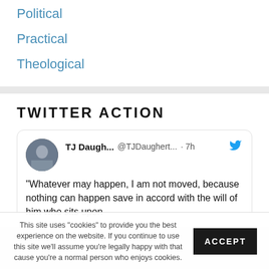Political
Practical
Theological
TWITTER ACTION
TJ Daugh... @TJDaughert... · 7h "Whatever may happen, I am not moved, because nothing can happen save in accord with the will of him who sits upon
This site uses "cookies" to provide you the best experience on the website. If you continue to use this site we'll assume you're legally happy with that cause you're a normal person who enjoys cookies.